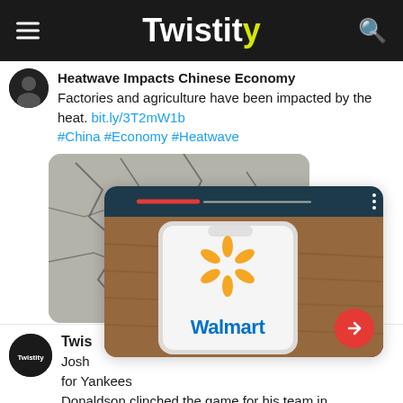Twistity
Heatwave Impacts Chinese Economy Factories and agriculture have been impacted by the heat. bit.ly/3T2mW1b #China #Economy #Heatwave
[Figure (screenshot): A cracked dry earth photo behind a phone showing the Walmart app logo on a wooden surface, with a red arrow button overlay]
Twistity Josh for Yankees Donaldson clinched the game for his team in